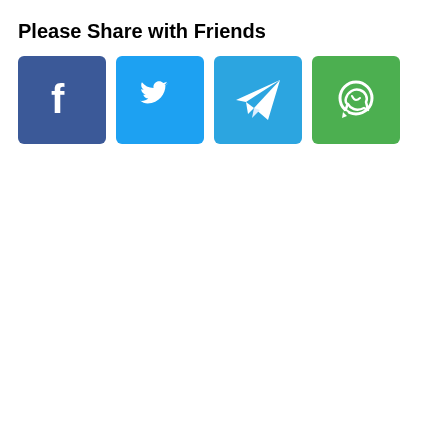Please Share with Friends
[Figure (illustration): Four social media share buttons in a row: Facebook (dark blue with 'f' logo), Twitter (light blue with bird logo), Telegram (blue with paper plane logo), WhatsApp (green with phone handset logo)]